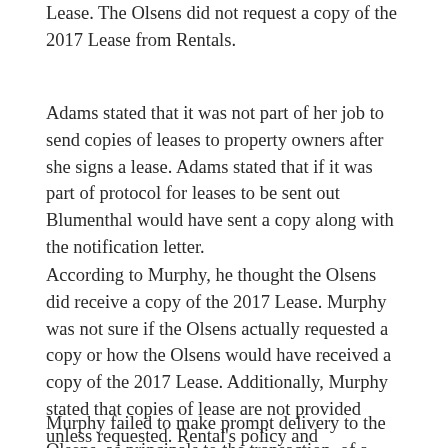Lease. The Olsens did not request a copy of the 2017 Lease from Rentals.
Adams stated that it was not part of her job to send copies of leases to property owners after she signs a lease. Adams stated that if it was part of protocol for leases to be sent out Blumenthal would have sent a copy along with the notification letter.
According to Murphy, he thought the Olsens did receive a copy of the 2017 Lease. Murphy was not sure if the Olsens actually requested a copy or how the Olsens would have received a copy of the 2017 Lease. Additionally, Murphy stated that copies of lease are not provided unless requested. Rental's policy and procedures manual did not specifically address providing copies of documents to owners.
Murphy failed to make prompt delivery to the Olsens, as principals to the transaction, of a complete and legible copy